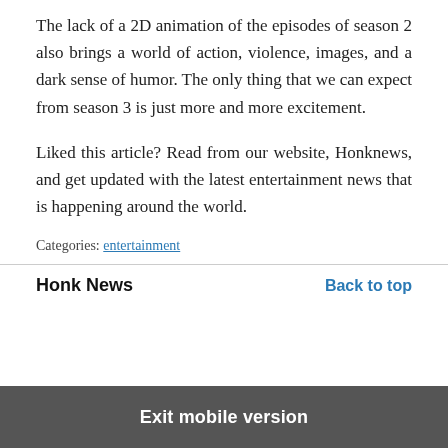The lack of a 2D animation of the episodes of season 2 also brings a world of action, violence, images, and a dark sense of humor. The only thing that we can expect from season 3 is just more and more excitement.
Liked this article? Read from our website, Honknews, and get updated with the latest entertainment news that is happening around the world.
Categories: entertainment
Honk News   Back to top
Exit mobile version